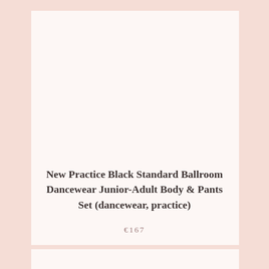New Practice Black Standard Ballroom Dancewear Junior-Adult Body & Pants Set (dancewear, practice)
€167